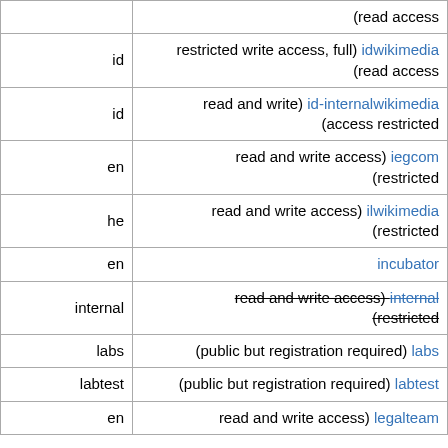| lang | description / link |
| --- | --- |
|  | (read access |
| id | restricted write access, full) idwikimedia (read access |
| id | read and write) id-internalwikimedia (access restricted |
| en | read and write access) iegcom (restricted |
| he | read and write access) ilwikimedia (restricted |
| en | incubator |
| internal | read and write access) internal (restricted |
| labs | (public but registration required) labs |
| labtest | (public but registration required) labtest |
| en | read and write access) legalteam |